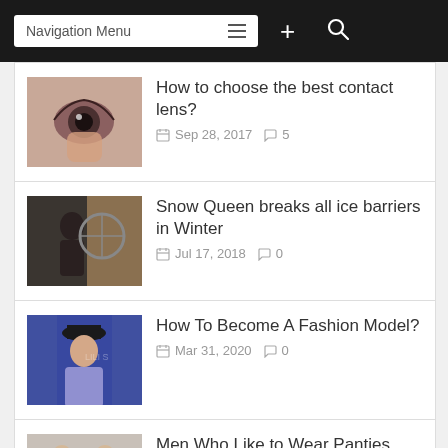Navigation Menu
How to choose the best contact lens? Sep 28, 2017  5
Snow Queen breaks all ice barriers in Winter Jul 17, 2018  0
How To Become A Fashion Model? Mar 31, 2020  0
Men Who Like to Wear Panties Mar 21, 2016  0